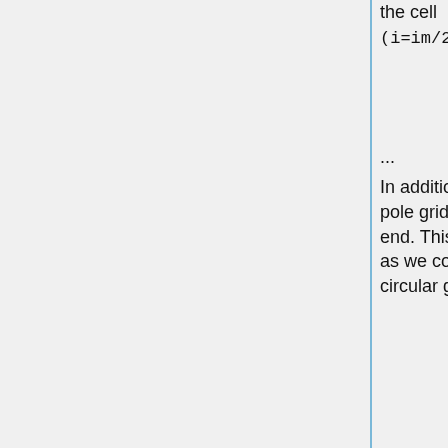the cell
(i=im/2+1, j=2)
...
In addition, the wind values for the pole grid cells are averaged at the end. This is also coherent with tpcore as we consider the poles are one circular grid cell.
So I think everything is done correctly in the regridding. The differences we see (between NCREGRID and MAP_A2A) are explained by the differences in algorithms used but we